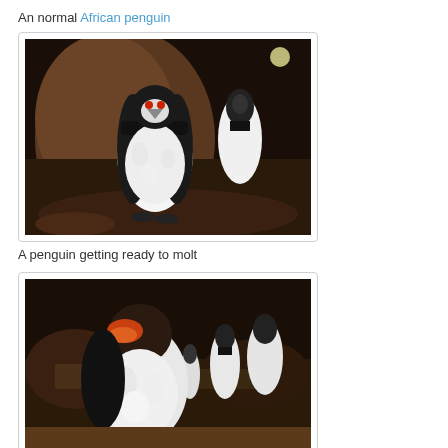An normal African penguin
[Figure (photo): Two African penguins standing on rocky ground in a dim enclosure. The foreground penguin is large with fluffy white chest feathers and black back, facing the camera. A second penguin stands behind to the right.]
A penguin getting ready to molt
[Figure (photo): Several penguins in a rocky indoor habitat. A large penguin with fluffy disheveled white feathers is prominent in the foreground, appearing to be in molt. Other penguins visible in the background.]